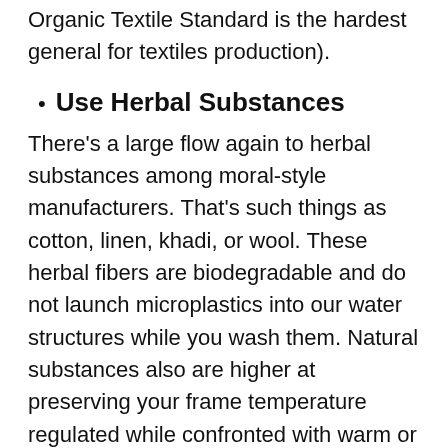Organic Textile Standard is the hardest general for textiles production).
Use Herbal Substances
There’s a large flow again to herbal substances among moral-style manufacturers. That’s such things as cotton, linen, khadi, or wool. These herbal fibers are biodegradable and do not launch microplastics into our water structures while you wash them. Natural substances also are higher at preserving your frame temperature regulated while confronted with warm or bloodless conditions.
Eco-conscious
Choose style manufacturers which might be